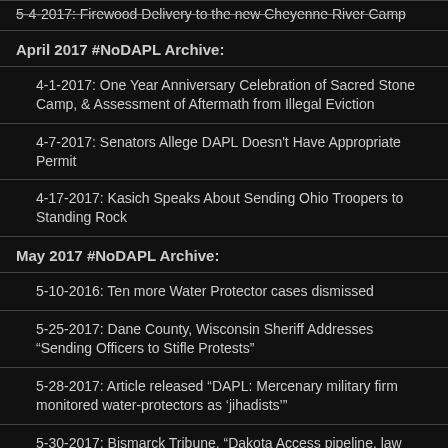5-4-2017: Firewood Delivery to the new Cheyenne River Camp
April 2017 #NoDAPL Archive:
4-1-2017: One Year Anniversary Celebration of Sacred Stone Camp, & Assessment of Aftermath from Illegal Eviction
4-7-2017: Senators Allege DAPL Doesn't Have Appropriate Permit
4-17-2017: Kasich Speaks About Sending Ohio Troopers to Standing Rock
May 2017 #NoDAPL Archive:
5-10-2016: Ten more Water Protector cases dismissed
5-25-2017: Dane County, Wisconsin Sheriff Addresses “Sending Officers to Stifle Protests”
5-28-2017: Article released “DAPL: Mercenary military firm monitored water-protectors as ‘jihadists’”
5-30-2017: Bismarck Tribune, “Dakota Access pipeline, law officers had close relationship”